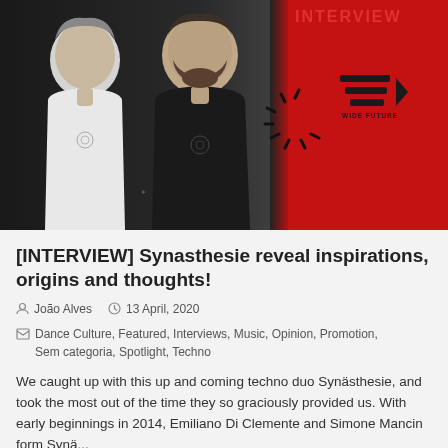[Figure (photo): Split image: left half shows two men in black and white (one in white t-shirt, one in black t-shirt), right half is a red background with 'INTERVIEW' text in red at top, decorative spinner/burst lines, and a logo with horizontal lines.]
[INTERVIEW] Synasthesie reveal inspirations, origins and thoughts!
João Alves   13 April, 2020
Dance Culture, Featured, Interviews, Music, Opinion, Promotion, Sem categoria, Spotlight, Techno
We caught up with this up and coming techno duo Synästhesie, and took the most out of the time they so graciously provided us. With early beginnings in 2014, Emiliano Di Clemente and Simone Mancin form Synä...